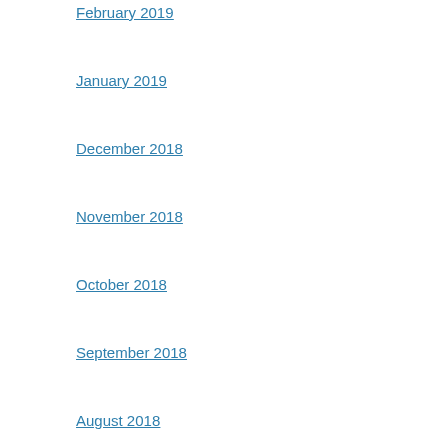February 2019
January 2019
December 2018
November 2018
October 2018
September 2018
August 2018
July 2018
June 2018
May 2018
April 2018
March 2018
February 2018
January 2018
December 2017
November 2017